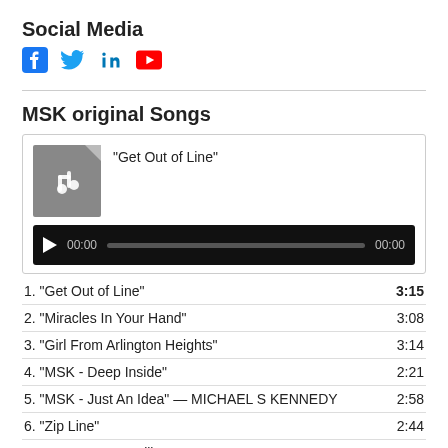Social Media
[Figure (other): Social media icons: Facebook, Twitter, LinkedIn, YouTube]
[Figure (other): Audio player showing "Get Out of Line" with file icon, play button, progress bar, and timestamps 00:00 / 00:00]
MSK original Songs
| Track | Duration |
| --- | --- |
| 1. “Get Out of Line” | 3:15 |
| 2. “Miracles In Your Hand” | 3:08 |
| 3. “Girl From Arlington Heights” | 3:14 |
| 4. “MSK - Deep Inside” | 2:21 |
| 5. “MSK - Just An Idea” — MICHAEL S KENNEDY | 2:58 |
| 6. “Zip Line” | 2:44 |
| 7. “Peanut Butter Hill” | 3:28 |